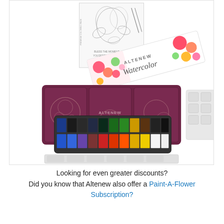[Figure (photo): Product photo showing an Altenew watercolor paint set. Visible items include: a white floral-patterned box labeled 'Altenew Watercolor', a dark plum/burgundy tin case with floral embossing and 'Altenew' branding, a rectangular paint pan with two rows of approximately 24 watercolor pans in various colors (blues, greens, yellows, reds, oranges, browns, blacks), and a coloring/stamp sheet with floral line art and text 'Bless the moment you desire to be flower'd'. All items arranged on a white background.]
Looking for even greater discounts? Did you know that Altenew also offer a Paint-A-Flower Subscription?